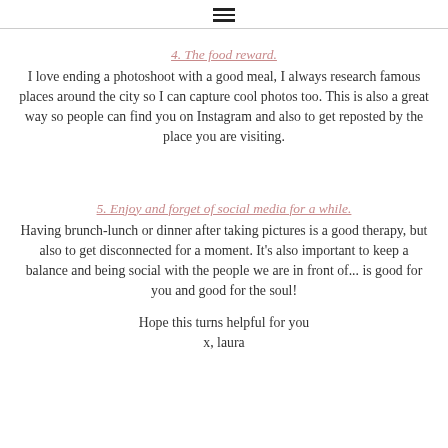≡
4. The food reward.
I love ending a photoshoot with a good meal, I always research famous places around the city so I can capture cool photos too. This is also a great way so people can find you on Instagram and also to get reposted by the place you are visiting.
5. Enjoy and forget of social media for a while.
Having brunch-lunch or dinner after taking pictures is a good therapy, but also to get disconnected for a moment. It's also important to keep a balance and being social with the people we are in front of... is good for you and good for the soul!
Hope this turns helpful for you x, laura